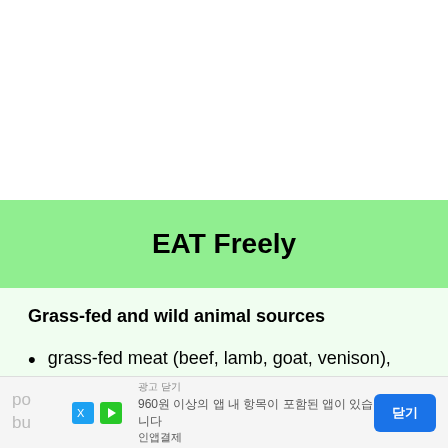EAT Freely
Grass-fed and wild animal sources
grass-fed meat (beef, lamb, goat, venison), wild-caught fish & seafood (avoid farmed fish), pastured po… bu…